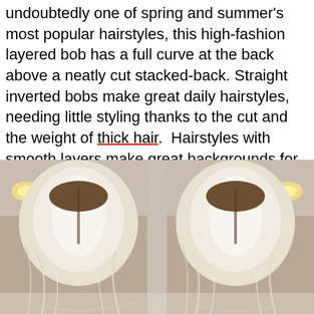undoubtedly one of spring and summer's most popular hairstyles, this high-fashion layered bob has a full curve at the back above a neatly cut stacked-back. Straight inverted bobs make great daily hairstyles, needing little styling thanks to the cut and the weight of thick hair.  Hairstyles with smooth layers make great backgrounds for fresh hair color ideas, like this white-blonde with a rich brown 'border' making an attractive feature that accentuates the asymmetry!
[Figure (photo): Back view of a white-blonde layered bob hairstyle shown twice (mirror/side-by-side), with warm room lighting and brown border color visible at the hair edges.]